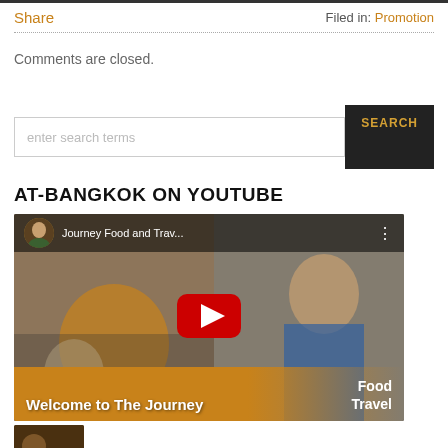Share
Filed in: Promotion
Comments are closed.
[Figure (screenshot): Search bar with text input 'enter search terms' and dark SEARCH button]
AT-BANGKOK ON YOUTUBE
[Figure (screenshot): YouTube video thumbnail showing 'Journey Food and Trav...' with play button, 'Welcome to The Journey' banner and 'Food Travel' label]
[Figure (screenshot): Small YouTube thumbnail below the main one]